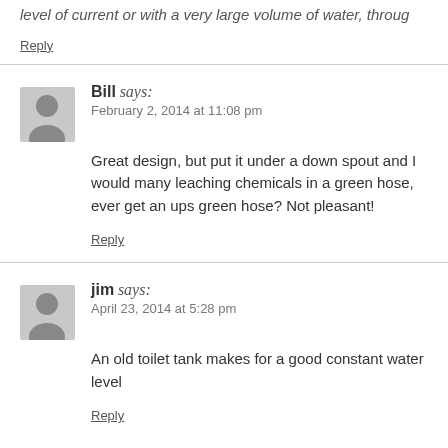level of current or with a very large volume of water, through
Reply
Bill says:
February 2, 2014 at 11:08 pm
Great design, but put it under a down spout and I would many leaching chemicals in a green hose, ever get an ups green hose? Not pleasant!
Reply
jim says:
April 23, 2014 at 5:28 pm
An old toilet tank makes for a good constant water level
Reply